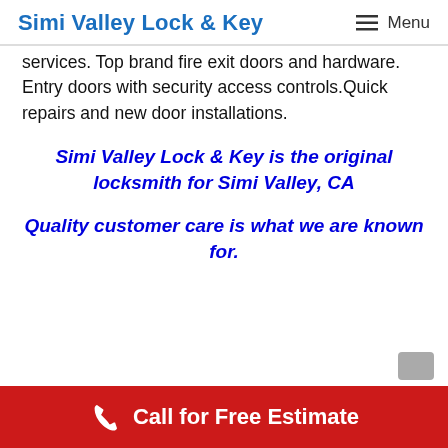Simi Valley Lock & Key  ≡ Menu
services. Top brand fire exit doors and hardware. Entry doors with security access controls.Quick repairs and new door installations.
Simi Valley Lock & Key is the original locksmith for Simi Valley, CA
Quality customer care is what we are known for.
Call for Free Estimate